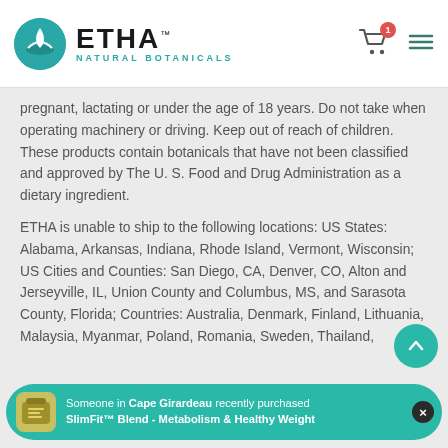ETHA Natural Botanicals
pregnant, lactating or under the age of 18 years. Do not take when operating machinery or driving. Keep out of reach of children. These products contain botanicals that have not been classified and approved by The U. S. Food and Drug Administration as a dietary ingredient.
ETHA is unable to ship to the following locations: US States: Alabama, Arkansas, Indiana, Rhode Island, Vermont, Wisconsin; US Cities and Counties: San Diego, CA, Denver, CO, Alton and Jerseyville, IL, Union County and Columbus, MS, and Sarasota County, Florida; Countries: Australia, Denmark, Finland, Lithuania, Malaysia, Myanmar, Poland, Romania, Sweden, Thailand,
Someone in Cape Girardeau recently purchased SlimFit™ Blend - Metabolism & Healthy Weight